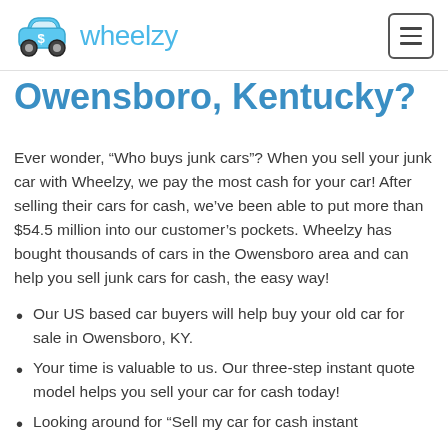wheelzy
Owensboro, Kentucky?
Ever wonder, “Who buys junk cars”? When you sell your junk car with Wheelzy, we pay the most cash for your car! After selling their cars for cash, we’ve been able to put more than $54.5 million into our customer’s pockets. Wheelzy has bought thousands of cars in the Owensboro area and can help you sell junk cars for cash, the easy way!
Our US based car buyers will help buy your old car for sale in Owensboro, KY.
Your time is valuable to us. Our three-step instant quote model helps you sell your car for cash today!
Looking around for “Sell my car for cash instant